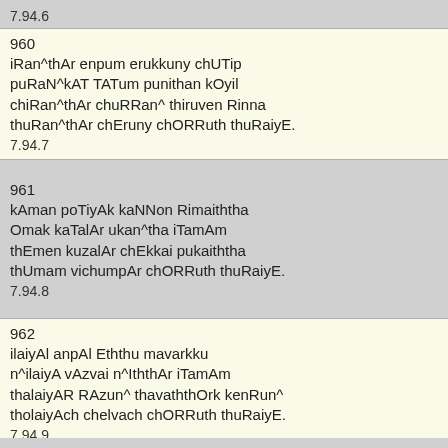7.94.6
960
iRan^thAr enpum erukkuny chUTip
puRaN^kAT TATum punithan kOyil
chiRan^thAr chuRRan^ thiruven Rinna
thuRan^thAr chEruny chORRuth thuRaiyE.
7.94.7
961
kAman poTiyAk kaNNon Rimaiththa
Omak kaTalAr ukan^tha iTamAm
thEmen kuzalAr chEkkai pukaiththa
thUmam vichumpAr chORRuth thuRaiyE.
7.94.8
962
ilaiyAl anpAl Eththu mavarkku
n^ilaiyA vAzvai n^IththAr iTamAm
thalaiyAR RAzun^ thavaththOk kenRun^
tholaiyAch chelvach chORRuth thuRaiyE.
7.94.9
963